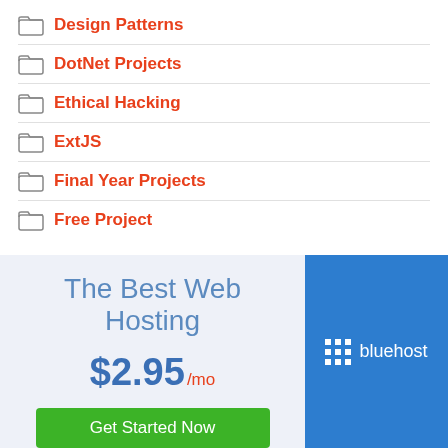Design Patterns
DotNet Projects
Ethical Hacking
ExtJS
Final Year Projects
Free Project
[Figure (infographic): Bluehost web hosting advertisement banner. Left panel with light blue background shows 'The Best Web Hosting' in blue text, '$2.95/mo' price in large blue and red text, and a green 'Get Started Now' button. Right panel shows Bluehost logo (grid icon + text) on blue background.]